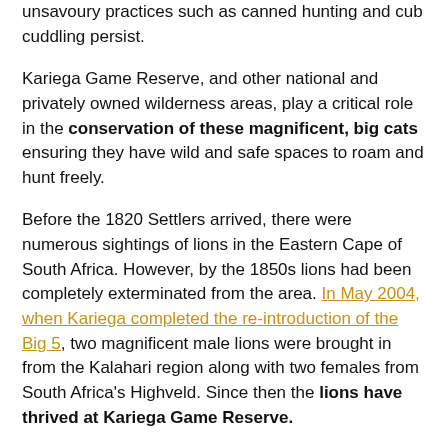unsavoury practices such as canned hunting and cub cuddling persist.
Kariega Game Reserve, and other national and privately owned wilderness areas, play a critical role in the conservation of these magnificent, big cats ensuring they have wild and safe spaces to roam and hunt freely.
Before the 1820 Settlers arrived, there were numerous sightings of lions in the Eastern Cape of South Africa. However, by the 1850s lions had been completely exterminated from the area. In May 2004, when Kariega completed the re-introduction of the Big 5, two magnificent male lions were brought in from the Kalahari region along with two females from South Africa's Highveld. Since then the lions have thrived at Kariega Game Reserve.
The current dominant male is the grandson of the males brought in from the Kalahari. I hope you enjoy this photographic record of his life from birth to dominance.